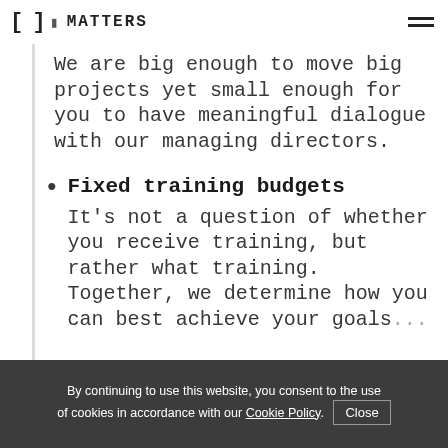MATTERS
We are big enough to move big projects yet small enough for you to have meaningful dialogue with our managing directors.
Fixed training budgets
It’s not a question of whether you receive training, but rather what training. Together, we determine how you can best achieve your goals
By continuing to use this website, you consent to the use of cookies in accordance with our Cookie Policy. Close